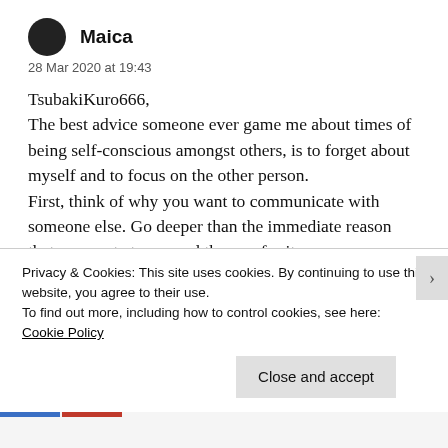Maica
28 Mar 2020 at 19:43
TsubakiKuro666,
The best advice someone ever game me about times of being self-conscious amongst others, is to forget about myself and to focus on the other person.
First, think of why you want to communicate with someone else. Go deeper than the immediate reason that pops out at you, and then go for it.
Hmm... potlucks are pretty common where I live.
Privacy & Cookies: This site uses cookies. By continuing to use this website, you agree to their use.
To find out more, including how to control cookies, see here: Cookie Policy
Close and accept